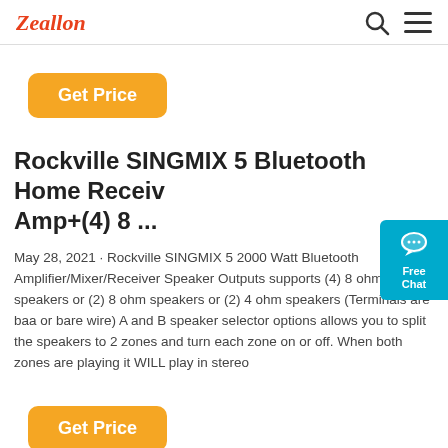Zeallon
Get Price
Rockville SINGMIX 5 Bluetooth Home Receiv Amp+(4) 8 ...
May 28, 2021 · Rockville SINGMIX 5 2000 Watt Bluetooth Amplifier/Mixer/Receiver Speaker Outputs supports (4) 8 ohm speakers or (2) 8 ohm speakers or (2) 4 ohm speakers (Terminals are baa or bare wire) A and B speaker selector options allows you to split the speakers to 2 zones and turn each zone on or off. When both zones are playing it WILL play in stereo
Get Price